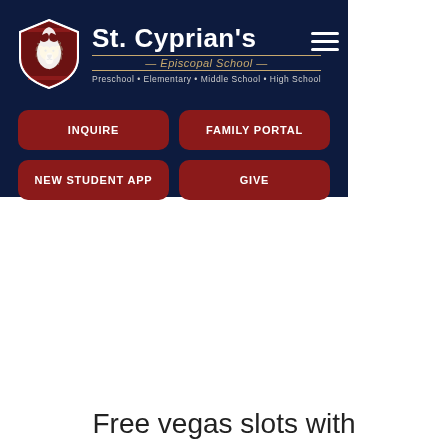[Figure (screenshot): St. Cyprian's Episcopal School navigation bar with logo, school name, hamburger menu, and four buttons: INQUIRE, FAMILY PORTAL, NEW STUDENT APP, GIVE]
Free vegas slots with